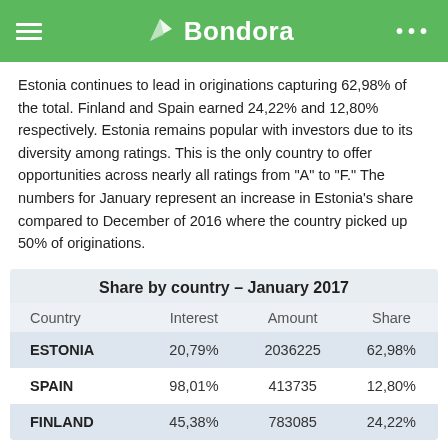Bondora
Estonia continues to lead in originations capturing 62,98% of the total. Finland and Spain earned 24,22% and 12,80% respectively. Estonia remains popular with investors due to its diversity among ratings. This is the only country to offer opportunities across nearly all ratings from "A" to "F." The numbers for January represent an increase in Estonia's share compared to December of 2016 where the country picked up 50% of originations.
| Country | Interest | Amount | Share |
| --- | --- | --- | --- |
| ESTONIA | 20,79% | 2036225 | 62,98% |
| SPAIN | 98,01% | 413735 | 12,80% |
| FINLAND | 45,38% | 783085 | 24,22% |